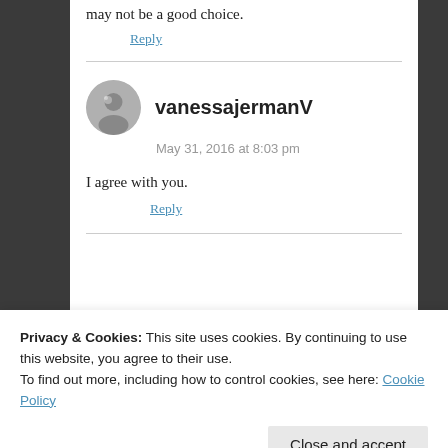may not be a good choice.
Reply
vanessajermanV
May 31, 2016 at 8:03 pm
I agree with you.
Reply
Privacy & Cookies: This site uses cookies. By continuing to use this website, you agree to their use.
To find out more, including how to control cookies, see here: Cookie Policy
Close and accept
right away that passed by our land.